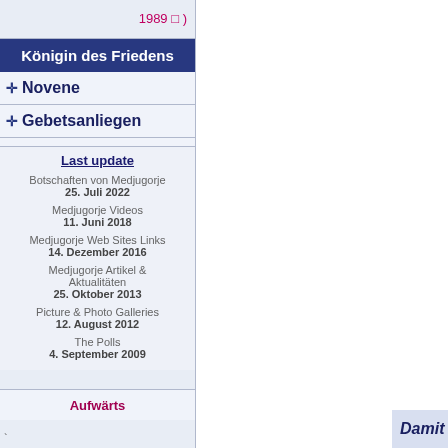1989 )
Königin des Friedens
+ Novene
+ Gebetsanliegen
Last update
Botschaften von Medjugorje
25. Juli 2022
Medjugorje Videos
11. Juni 2018
Medjugorje Web Sites Links
14. Dezember 2016
Medjugorje Artikel & Aktualitäten
25. Oktober 2013
Picture & Photo Galleries
12. August 2012
The Polls
4. September 2009
Aufwärts
Damit Gott in euren Her